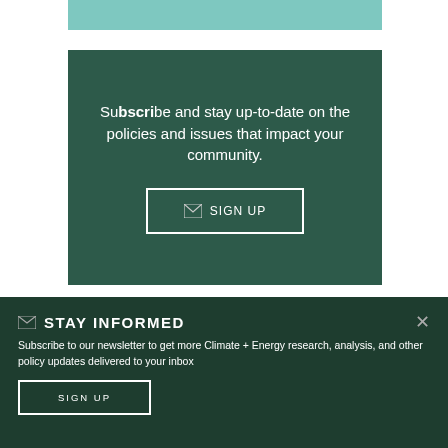Subscribe and stay up-to-date on the policies and issues that impact your community.
✉ SIGN UP
✉ STAY INFORMED
Subscribe to our newsletter to get more Climate + Energy research, analysis, and other policy updates delivered to your inbox
SIGN UP